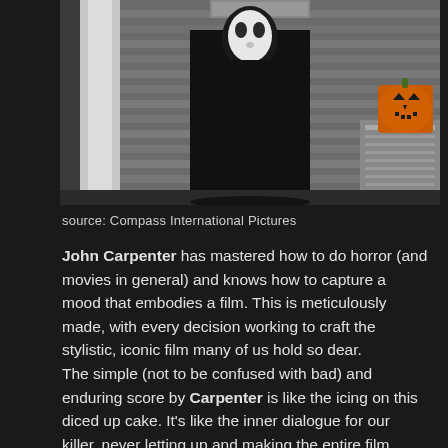[Figure (photo): A person in a dark jacket wearing a white mask (Michael Myers from Halloween) standing on a porch, with a jack-o-lantern visible in the upper right corner.]
source: Compass International Pictures
John Carpenter has mastered how to do horror (and movies in general) and knows how to capture a mood that embodies a film. This is meticulously made, with every decision working to craft the stylistic, iconic film many of us hold so dear.
The simple (not to be confused with bad) and enduring score by Carpenter is like the icing on this diced up cake. It’s like the inner dialogue for our killer, never letting up and making the entire film musically endowed with a spooky cadence. As